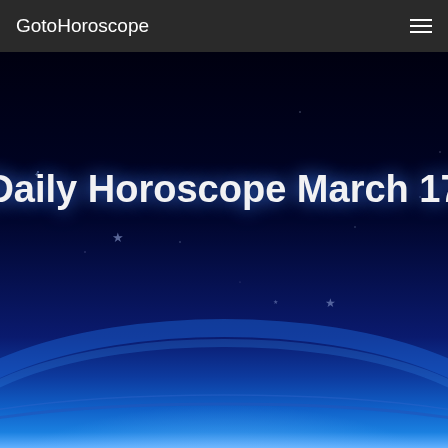GotoHoroscope
[Figure (illustration): Dark blue night sky with stars and a large glowing white planet or celestial body rising from the bottom, creating a horizon effect with blue atmospheric glow. Title text 'Daily Horoscope March 17' displayed in white over the sky.]
Daily Horoscope March 17